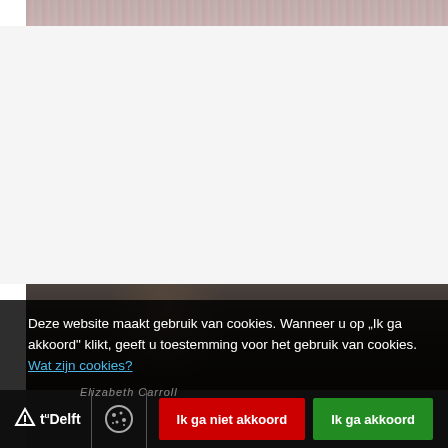[Figure (photo): Top partial photo strip showing a person in checkered clothing, partially visible at the top of the page]
[Figure (photo): Bottom photo showing a person (Elizabeth Carroll) seated at a desk with computer monitors in a dark office environment]
Deze website maakt gebruik van cookies. Wanneer u op „Ik ga akkoord“ klikt, geeft u toestemming voor het gebruik van cookies. Wat zijn cookies?
Ik ga niet akkoord
Ik ga akkoord